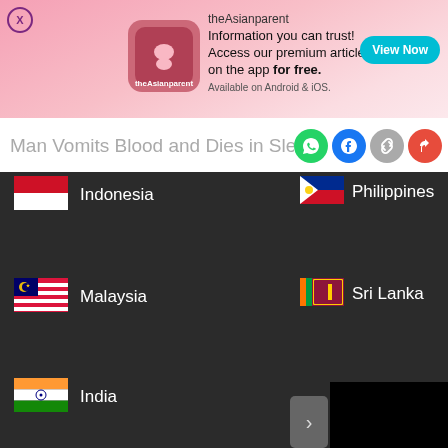[Figure (screenshot): theAsianparent app advertisement banner with pink gradient background, app icon, text and View Now button]
Man Vomits Blood and Dies in Sleep.
[Figure (screenshot): Dark country selector panel showing Indonesia, Philippines, Malaysia, Sri Lanka, India flags and names, with video player overlay and carousel arrow]
[Figure (screenshot): Follic game ad banner: They Are Coming! with Download link]
[Figure (screenshot): Bottom navigation bar with Tools, Articles, home (pregnant woman icon), Feed, Poll icons]
We use cookies to ensure you get the best experience.
Learn More    Ok, Got it